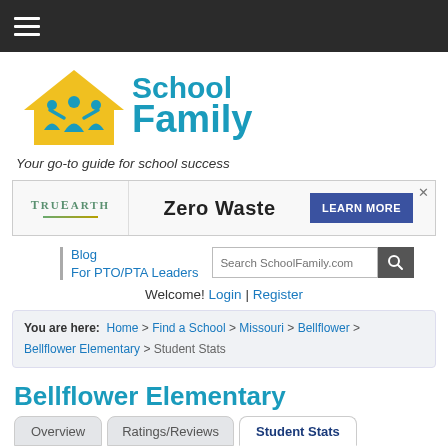Navigation bar with hamburger menu
[Figure (logo): SchoolFamily logo with house icon and two figures, text 'School Family']
Your go-to guide for school success
[Figure (infographic): TruEarth advertisement banner: Zero Waste - LEARN MORE]
Blog | For PTO/PTA Leaders
Welcome! Login | Register
You are here: Home > Find a School > Missouri > Bellflower > Bellflower Elementary > Student Stats
Bellflower Elementary
Overview | Ratings/Reviews | Student Stats